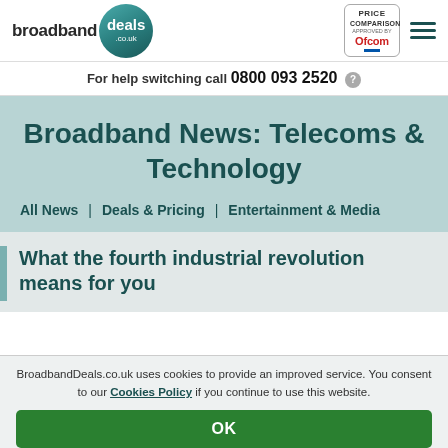broadbanddeals.co.uk — Price Comparison Approved by Ofcom
For help switching call 0800 093 2520
Broadband News: Telecoms & Technology
All News | Deals & Pricing | Entertainment & Media
What the fourth industrial revolution means for you
BroadbandDeals.co.uk uses cookies to provide an improved service. You consent to our Cookies Policy if you continue to use this website.
OK